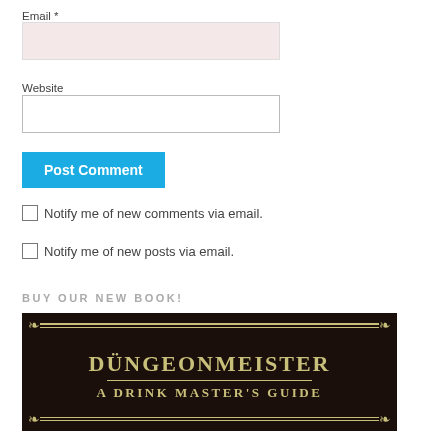Email *
Website
Post Comment
Notify me of new comments via email.
Notify me of new posts via email.
BUY OUR NEW BOOK!
[Figure (photo): Book cover for Düngeonmeister: A Drink Master's Guide, dark background with gold ornamental border and text]